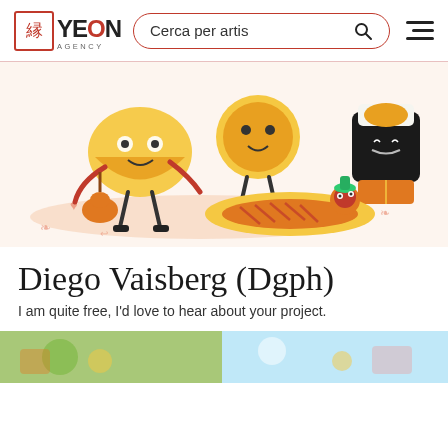[Figure (logo): Yeon Agency logo with red kanji character, bold YEON text with red O, and AGENCY subtitle]
Cerca per artis
[Figure (illustration): Colorful cartoon food characters: a taco playing guitar, a pizza figure, a sushi roll character, and a hot dog with a bunny, on a cream/peach background with decorative doodles]
Diego Vaisberg (Dgph)
I am quite free, I'd love to hear about your project.
[Figure (photo): Two partial portfolio images visible at bottom: left appears to be a colorful illustrated scene, right is a lighter illustrated scene]